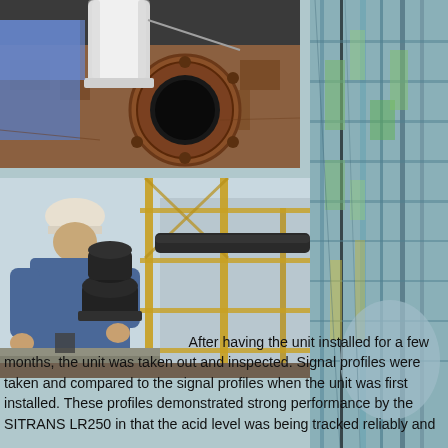[Figure (photo): Close-up photo of a white cylindrical sensor/probe being inserted into a rusty industrial pipe flange]
[Figure (photo): Background industrial facility photo showing equipment, tanks, and scaffolding with cyan/teal tint overlay on right side]
[Figure (photo): A worker in blue coveralls and hard hat kneeling on scaffolding, working on a black cylindrical radar level sensor installed on industrial equipment]
After having the unit installed for a few months, the unit was taken out and inspected. Signal profiles were taken and compared to the signal profiles when the unit was first installed. These profiles demonstrated strong performance by the SITRANS LR250 in that the acid level was being tracked reliably and